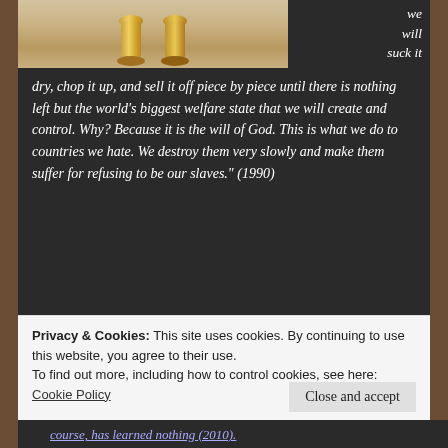[Figure (photo): Photo showing golden/brass decorative legs or figurines against a light background, partially visible at top]
we will suck it dry, chop it up, and sell it off piece by piece until there is nothing left but the world's biggest welfare state that we will create and control. Why? Because it is the will of God. This is what we do to countries we hate. We destroy them very slowly and make them suffer for refusing to be our slaves." (1990)
Something like that appears to be happening now thanks to the signed "I invite
[Figure (photo): Photo of a person with significant head injury, showing wounds and stitches]
Privacy & Cookies: This site uses cookies. By continuing to use this website, you agree to their use.
To find out more, including how to control cookies, see here:
Cookie Policy
Close and accept
course, has learned nothing (2010).